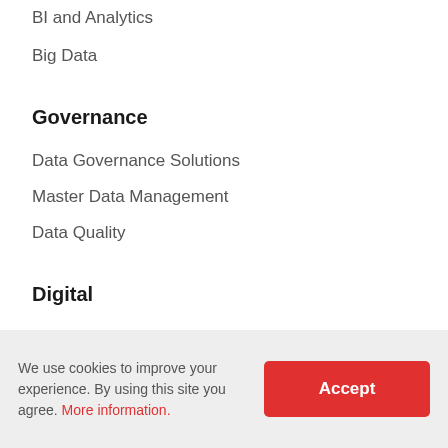BI and Analytics
Big Data
Governance
Data Governance Solutions
Master Data Management
Data Quality
Digital
Digital Transformation
We use cookies to improve your experience. By using this site you agree. More information.